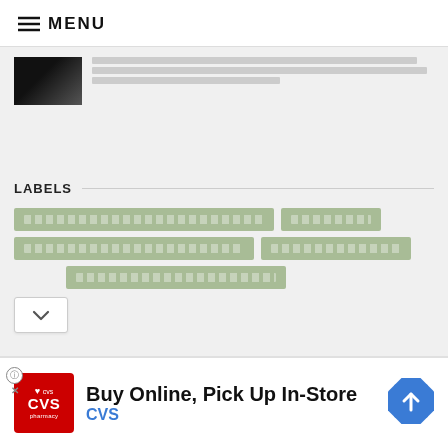≡ MENU
[Figure (screenshot): Article thumbnail image (dark/black photo) with placeholder text lines representing article snippet]
[redacted article text snippet with placeholder characters]
LABELS
[label tag 1: placeholder text]
[label tag 2: placeholder text]
[label tag 3: placeholder text]
[label tag 4: placeholder text]
[label tag 5: placeholder text]
[Figure (screenshot): CVS Pharmacy advertisement banner: Buy Online, Pick Up In-Store with CVS logo and navigation arrow icon]